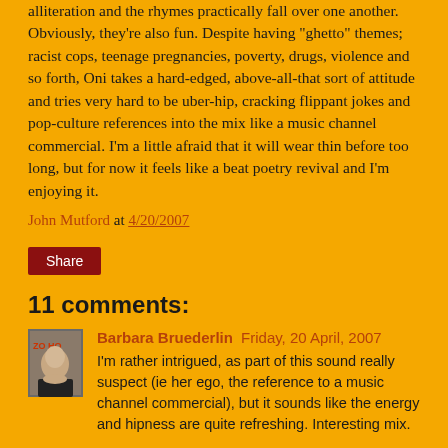alliteration and the rhymes practically fall over one another. Obviously, they're also fun. Despite having "ghetto" themes; racist cops, teenage pregnancies, poverty, drugs, violence and so forth, Oni takes a hard-edged, above-all-that sort of attitude and tries very hard to be uber-hip, cracking flippant jokes and pop-culture references into the mix like a music channel commercial. I'm a little afraid that it will wear thin before too long, but for now it feels like a beat poetry revival and I'm enjoying it.
John Mutford at 4/20/2007
Share
11 comments:
Barbara Bruederlin Friday, 20 April, 2007
I'm rather intrigued, as part of this sound really suspect (ie her ego, the reference to a music channel commercial), but it sounds like the energy and hipness are quite refreshing. Interesting mix.